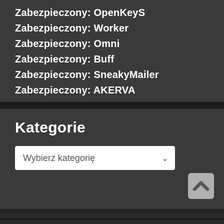Zabezpieczony: OpenKeyS
Zabezpieczony: Worker
Zabezpieczony: Omni
Zabezpieczony: Buff
Zabezpieczony: SneakyMailer
Zabezpieczony: AKERVA
Kategorie
Wybierz kategorię